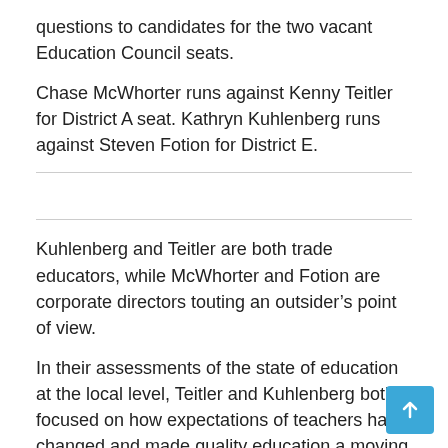questions to candidates for the two vacant Education Council seats.
Chase McWhorter runs against Kenny Teitler for District A seat. Kathryn Kuhlenberg runs against Steven Fotion for District E.
Kuhlenberg and Teitler are both trade educators, while McWhorter and Fotion are corporate directors touting an outsider’s point of view.
In their assessments of the state of education at the local level, Teitler and Kuhlenberg both focused on how expectations of teachers have changed and made quality education a moving target. McWhorter and Fotion both felt the bar had been lowered nationally.